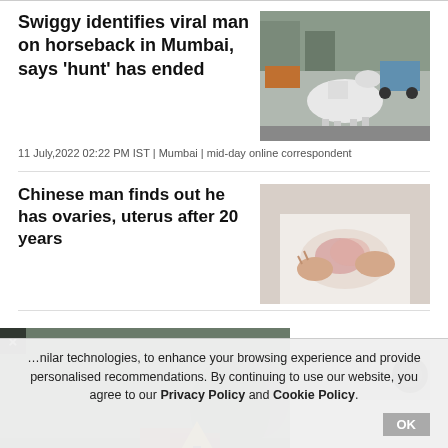Swiggy identifies viral man on horseback in Mumbai, says 'hunt' has ended
[Figure (photo): Photo of a white horse and street/traffic scene in Mumbai]
11 July,2022 02:22 PM IST | Mumbai | mid-day online correspondent
Chinese man finds out he has ovaries, uterus after 20 years
[Figure (photo): Photo of person holding abdomen in pain]
[Figure (photo): Accident warning sign photo popup overlay]
[Figure (photo): Partial photo visible at bottom right]
nilar technologies, to enhance your browsing experience and provide personalised recommendations. By continuing to use our website, you agree to our Privacy Policy and Cookie Policy.